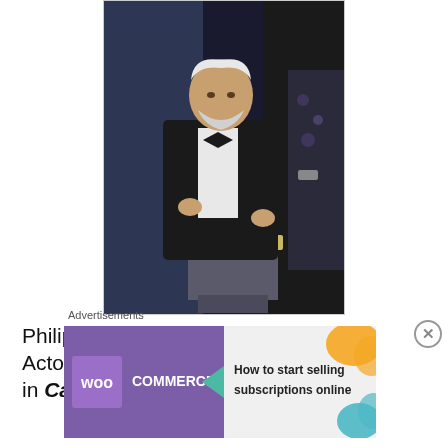[Figure (photo): An elderly man in a black tuxedo with bow tie stands at a silver podium holding an Oscar statuette. A woman in a floral dress is partially visible to the right. The background appears to be a stage setting.]
Philip Seymour Hoffman won Best Actor for his role as Truman Capote in Capote. And he dressed
Advertisements
[Figure (other): WooCommerce advertisement banner with purple background, teal arrow, and text 'How to start selling subscriptions online']